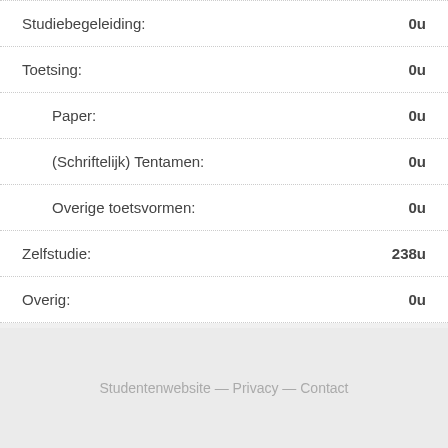Studiebegeleiding: 0u
Toetsing: 0u
Paper: 0u
(Schriftelijk) Tentamen: 0u
Overige toetsvormen: 0u
Zelfstudie: 238u
Overig: 0u
Studentenwebsite — Privacy — Contact